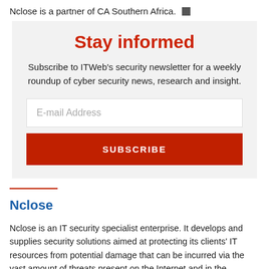Nclose is a partner of CA Southern Africa. ■
Stay informed
Subscribe to ITWeb's security newsletter for a weekly roundup of cyber security news, research and insight.
E-mail Address
SUBSCRIBE
Nclose
Nclose is an IT security specialist enterprise. It develops and supplies security solutions aimed at protecting its clients' IT resources from potential damage that can be incurred via the vast amount of threats present on the Internet and in the business place generally.